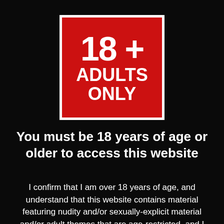[Figure (illustration): Red square badge with white border showing '18 +' in large bold white text and 'ADULTS ONLY' below in bold white uppercase text, on a black background]
You must be 18 years of age or older to access this website
I confirm that I am over 18 years of age, and understand that this website contains material featuring nudity and/or sexually-explicit material and/or adult themes that are age-restricted, and I